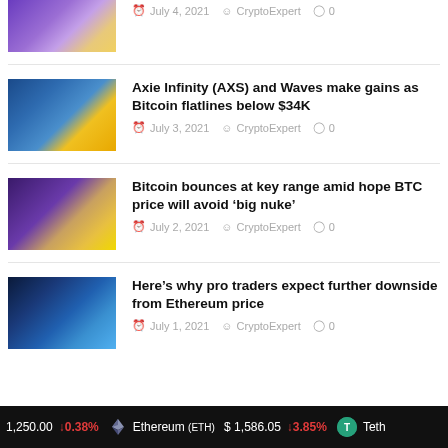[Figure (photo): Partial thumbnail of crypto article image at top]
July 4, 2021  CryptoExpert  0
[Figure (photo): Axie Infinity article thumbnail showing coins and person]
Axie Infinity (AXS) and Waves make gains as Bitcoin flatlines below $34K
July 3, 2021  CryptoExpert  0
[Figure (photo): Bitcoin turtle article thumbnail]
Bitcoin bounces at key range amid hope BTC price will avoid ‘big nuke’
July 2, 2021  CryptoExpert  0
[Figure (photo): Ethereum trader article thumbnail]
Here’s why pro traders expect further downside from Ethereum price
July 1, 2021  CryptoExpert  0
1,250.00  ↓0.38%  Ethereum (ETH)  $1,586.05  ↓3.85%  Teth